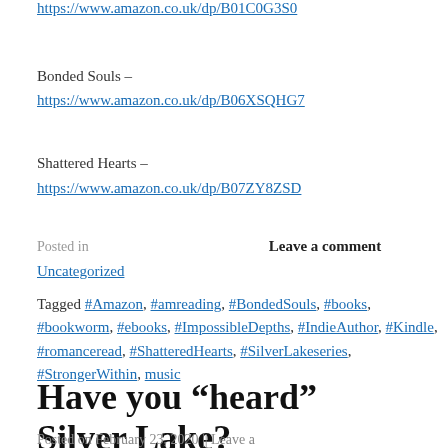https://www.amazon.co.uk/dp/B01C0G3S0...
Bonded Souls –
https://www.amazon.co.uk/dp/B06XSQHG7...
Shattered Hearts –
https://www.amazon.co.uk/dp/B07ZY8ZSD...
Posted in    Leave a comment
Uncategorized
Tagged #Amazon, #amreading, #BondedSouls, #books, #bookworm, #ebooks, #ImpossibleDepths, #IndieAuthor, #Kindle, #romanceread, #ShatteredHearts, #SilverLakeseries, #StrongerWithin, music
Have you “heard” Silver Lake?
Posted on February 23, 2020 || Leave a